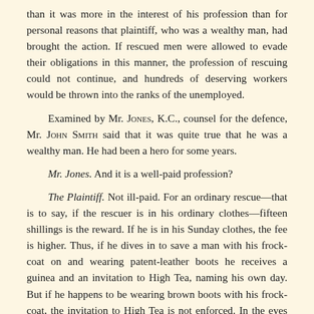...than it was more in the interest of his profession than for personal reasons that plaintiff, who was a wealthy man, had brought the action. If rescued men were allowed to evade their obligations in this manner, the profession of rescuing could not continue, and hundreds of deserving workers would be thrown into the ranks of the unemployed.
Examined by Mr. Jones, K.C., counsel for the defence, Mr. John Smith said that it was quite true that he was a wealthy man. He had been a hero for some years.
Mr. Jones. And it is a well-paid profession?
The Plaintiff. Not ill-paid. For an ordinary rescue—that is to say, if the rescuer is in his ordinary clothes—fifteen shillings is the reward. If he is in his Sunday clothes, the fee is higher. Thus, if he dives in to save a man with his frock-coat on and wearing patent-leather boots he receives a guinea and an invitation to High Tea, naming his own day. But if he happens to be wearing brown boots with his frock-coat, the invitation to High Tea is not enforced. In the eyes of the law, patent-leathers are more costly than brown boots.